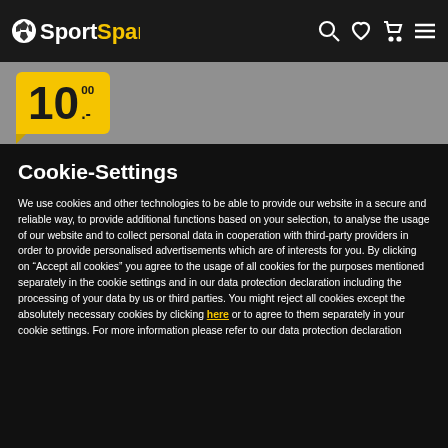SportSpar navigation header with logo and icons
[Figure (screenshot): Price badge showing 10.00 on grey background]
Cookie-Settings
We use cookies and other technologies to be able to provide our website in a secure and reliable way, to provide additional functions based on your selection, to analyse the usage of our website and to collect personal data in cooperation with third-party providers in order to provide personalised advertisements which are of interests for you. By clicking on “Accept all cookies” you agree to the usage of all cookies for the purposes mentioned separately in the cookie settings and in our data protection declaration including the processing of your data by us or third parties. You might reject all cookies except the absolutely necessary cookies by clicking here or to agree to them separately in your cookie settings. For more information please refer to our data protection declaration